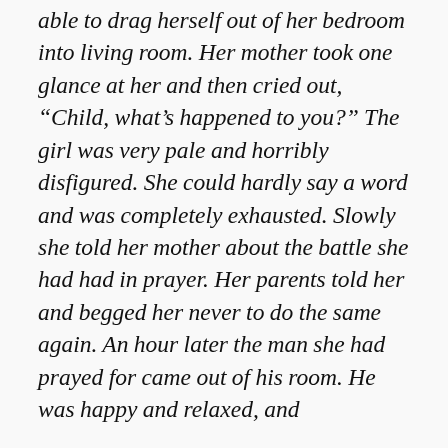able to drag herself out of her bedroom into living room. Her mother took one glance at her and then cried out, “Child, what’s happened to you?” The girl was very pale and horribly disfigured. She could hardly say a word and was completely exhausted. Slowly she told her mother about the battle she had had in prayer. Her parents told her and begged her never to do the same again. An hour later the man she had prayed for came out of his room. He was happy and relaxed, and